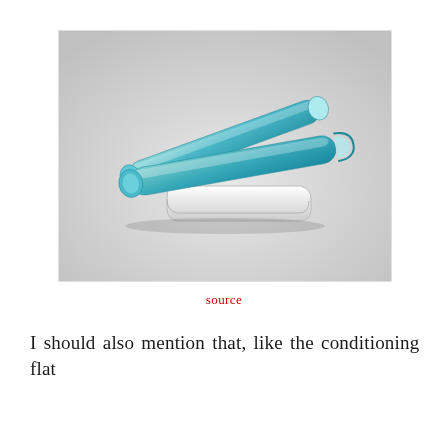[Figure (photo): Photo of teal/turquoise cylindrical conditioning flat irons or styling tools crossed over each other, with a white plastic component underneath, on a white background.]
source
I should also mention that, like the conditioning flat